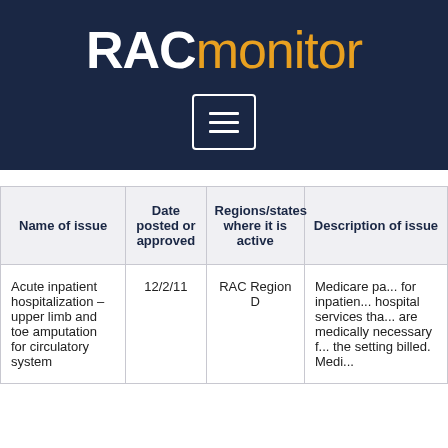[Figure (logo): RAC monitor logo on dark navy background with hamburger menu icon]
| Name of issue | Date posted or approved | Regions/states where it is active | Description of issue |
| --- | --- | --- | --- |
| Acute inpatient hospitalization – upper limb and toe amputation for circulatory system | 12/2/11 | RAC Region D | Medicare pa... for inpatien... hospital services tha... are medically... necessary f... the setting... billed. Medi... |